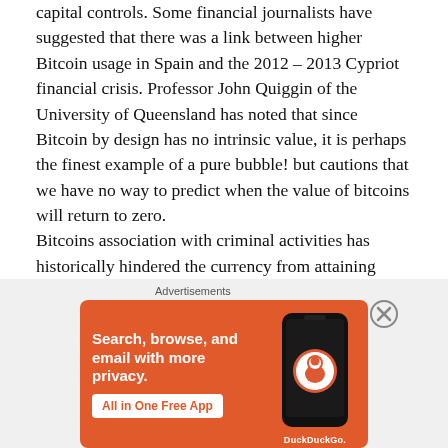capital controls. Some financial journalists have suggested that there was a link between higher Bitcoin usage in Spain and the 2012 – 2013 Cypriot financial crisis. Professor John Quiggin of the University of Queensland has noted that since Bitcoin by design has no intrinsic value, it is perhaps the finest example of a pure bubble! but cautions that we have no way to predict when the value of bitcoins will return to zero.
Bitcoins association with criminal activities has historically hindered the currency from attaining widespread, mainstream use and has attracted the attention of financial regulators, legislative bodies, and law enforcement.
Advertisements
[Figure (infographic): DuckDuckGo advertisement banner with orange background. Text: 'Search, browse, and email with more privacy. All in One Free App' with DuckDuckGo logo and phone illustration.]